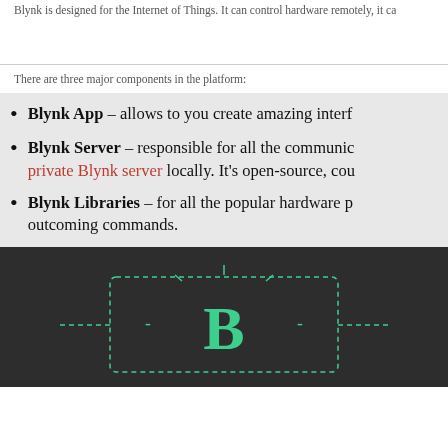Blynk is designed for the Internet of Things. It can control hardware remotely, it ca...
There are three major components in the platform:
Blynk App – allows to you create amazing interf...
Blynk Server – responsible for all the communic... private Blynk server locally. It's open-source, cou...
Blynk Libraries – for all the popular hardware p... outcoming commands.
[Figure (illustration): Dark background diagram showing a Blynk logo B in teal/green color with dashed rectangle border and radiating lines, suggesting connectivity/IoT concept]